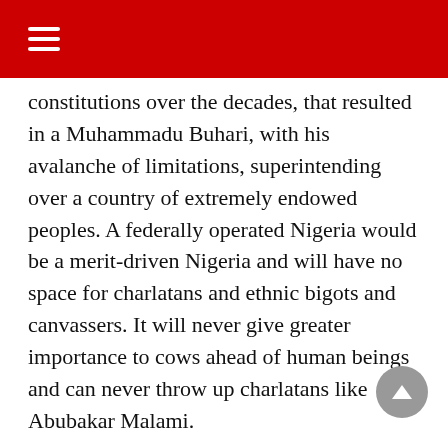☰
constitutions over the decades, that resulted in a Muhammadu Buhari, with his avalanche of limitations, superintending over a country of extremely endowed peoples. A federally operated Nigeria would be a merit-driven Nigeria and will have no space for charlatans and ethnic bigots and canvassers. It will never give greater importance to cows ahead of human beings and can never throw up charlatans like Abubakar Malami.
This is why anyone who canvasses for an amendment of the 1999 constitution is either shamelessly naïve or merely embarking on a fruitless sprint. One major reason for this is that, the process of that amendment is so tedious and cumbersome that it can never be completed in the one or life of the Buhari government. Secondly,